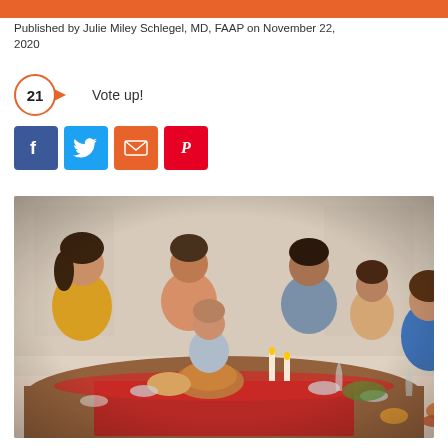Published by Julie Miley Schlegel, MD, FAAP on November 22, 2020
21  Vote up!
[Figure (infographic): Social sharing buttons: Facebook, Twitter, Email, Pinterest]
[Figure (photo): A family gathered around a Thanksgiving dinner table with candles, turkey, and festive decorations. Multiple adults and children are seated and eating together.]